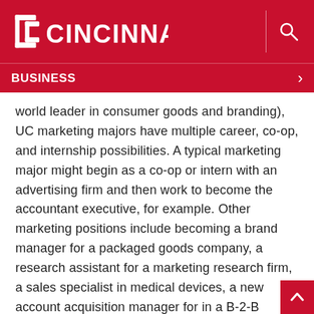UC Cincinnati — BUSINESS
world leader in consumer goods and branding), UC marketing majors have multiple career, co-op, and internship possibilities. A typical marketing major might begin as a co-op or intern with an advertising firm and then work to become the accountant executive, for example. Other marketing positions include becoming a brand manager for a packaged goods company, a research assistant for a marketing research firm, a sales specialist in medical devices, a new account acquisition manager for in a B-2-B industry, a district manager in retail, as well as an innovation leader for start-up firms. In addition, a UC marketing degree provides a solid foundation for additional coursework. Marketing graduates have gone on to obtain law degrees, MBAs, and